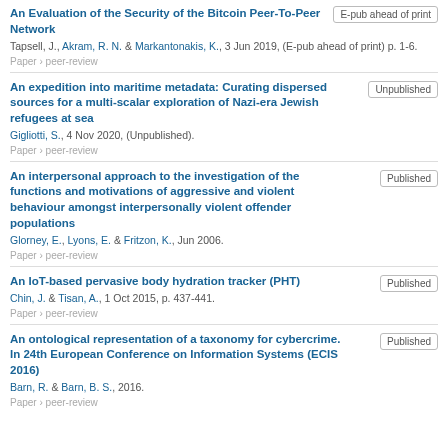An Evaluation of the Security of the Bitcoin Peer-To-Peer Network | Tapsell, J., Akram, R. N. & Markantonakis, K., 3 Jun 2019, (E-pub ahead of print) p. 1-6. | Paper › peer-review | E-pub ahead of print
An expedition into maritime metadata: Curating dispersed sources for a multi-scalar exploration of Nazi-era Jewish refugees at sea | Gigliotti, S., 4 Nov 2020, (Unpublished). | Paper › peer-review | Unpublished
An interpersonal approach to the investigation of the functions and motivations of aggressive and violent behaviour amongst interpersonally violent offender populations | Glorney, E., Lyons, E. & Fritzon, K., Jun 2006. | Paper › peer-review | Published
An IoT-based pervasive body hydration tracker (PHT) | Chin, J. & Tisan, A., 1 Oct 2015, p. 437-441. | Paper › peer-review | Published
An ontological representation of a taxonomy for cybercrime. In 24th European Conference on Information Systems (ECIS 2016) | Barn, R. & Barn, B. S., 2016. | Paper › peer-review | Published